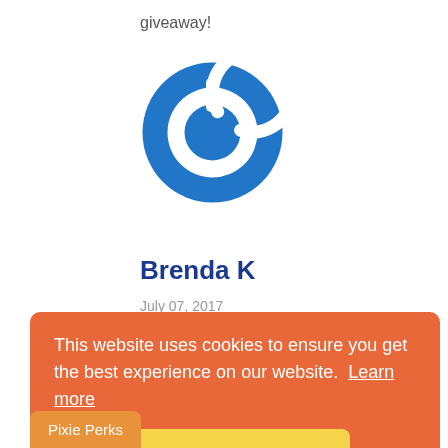giveaway!
[Figure (logo): Blue circular power/refresh icon logo]
Brenda K
July 07, 2017
I like it on Mary Ellen. You've done such a good job of designing and sewing the dress.
This website uses cookies to ensure you get the best experience on our website. Learn more
Got it!
Pixie Perks